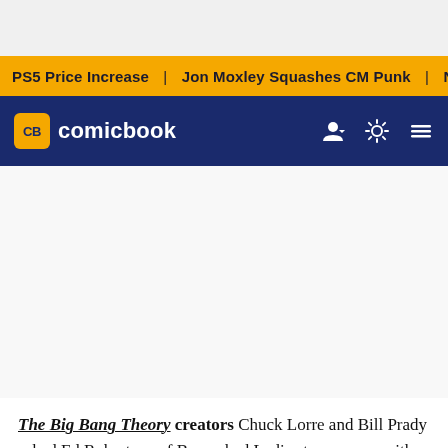PS5 Price Increase | Jon Moxley Squashes CM Punk | New G...
comicbook
The Big Bang Theory creators Chuck Lorre and Bill Prady asked Ed Robertson of Barenaked Ladies to come up with a